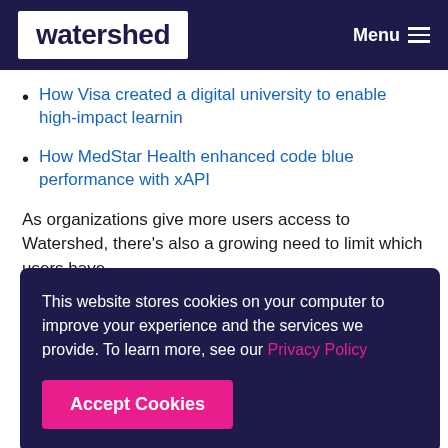watershed | Menu
How Visa created a digital university to enable high-impact learnin
How MedStar Health enhanced code blue performance with xAPI
As organizations give more users access to Watershed, there's also a growing need to limit which users have
This website stores cookies on your computer to improve your experience and the services we provide. To learn more, see our Privacy Policy
Accept Cookies
Watershed's Report Builder Access functionality offers a